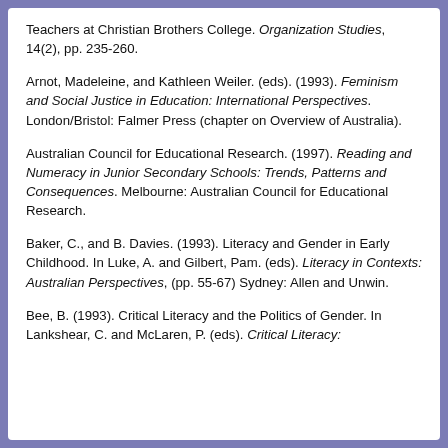Teachers at Christian Brothers College. Organization Studies, 14(2), pp. 235-260.
Arnot, Madeleine, and Kathleen Weiler. (eds). (1993). Feminism and Social Justice in Education: International Perspectives. London/Bristol: Falmer Press (chapter on Overview of Australia).
Australian Council for Educational Research. (1997). Reading and Numeracy in Junior Secondary Schools: Trends, Patterns and Consequences. Melbourne: Australian Council for Educational Research.
Baker, C., and B. Davies. (1993). Literacy and Gender in Early Childhood. In Luke, A. and Gilbert, Pam. (eds). Literacy in Contexts: Australian Perspectives, (pp. 55-67) Sydney: Allen and Unwin.
Bee, B. (1993). Critical Literacy and the Politics of Gender. In Lankshear, C. and McLaren, P. (eds). Critical Literacy: Politics, Praxis and the Postmodern, (pp. 35-43).